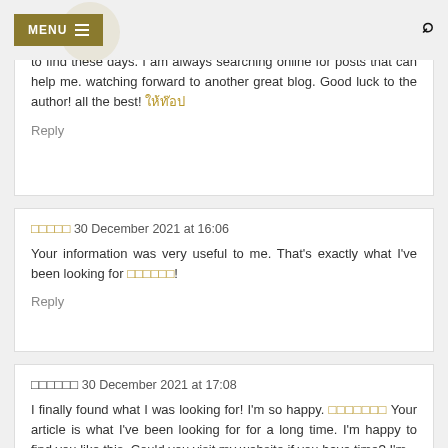MENU
Unknown 30 December 2021 at 14:32
Please keep on posting such quality articles as this is a rare thing to find these days. I am always searching online for posts that can help me. watching forward to another great blog. Good luck to the author! all the best! [thai link]
Reply
[thai name] 30 December 2021 at 16:06
Your information was very useful to me. That's exactly what I've been looking for [thai link]!
Reply
[thai name] 30 December 2021 at 17:08
I finally found what I was looking for! I'm so happy. [thai link] Your article is what I've been looking for for a long time. I'm happy to find you like this. Could you visit my website if you have time? I'm...